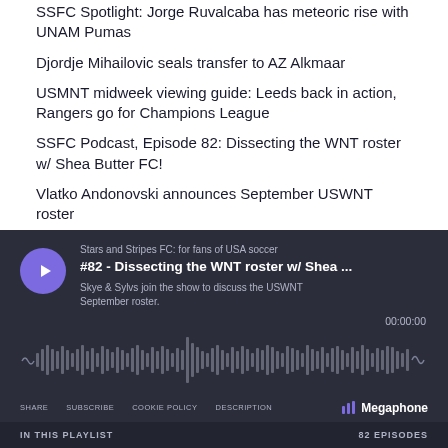SSFC Spotlight: Jorge Ruvalcaba has meteoric rise with UNAM Pumas
Djordje Mihailovic seals transfer to AZ Alkmaar
USMNT midweek viewing guide: Leeds back in action, Rangers go for Champions League
SSFC Podcast, Episode 82: Dissecting the WNT roster w/ Shea Butter FC!
Vlatko Andonovski announces September USWNT roster
[Figure (screenshot): Megaphone podcast player widget with dark background showing episode #82 - Dissecting the WNT roster w/ Shea... from Stars and Stripes FC: for fans of USA soccer. Includes play button, waveform, timer showing 00:00:00, and controls for SHARE, SUBSCRIBE, COOKIE POLICY, DESCRIPTION, and Megaphone branding. Bottom bar shows IN THIS PLAYLIST and 82 EPISODES.]